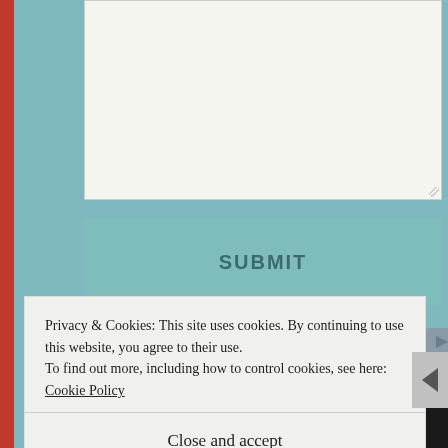[Figure (screenshot): Text area input box, empty, with resize handle at bottom right]
SUBMIT
Sponsored Content
[Figure (photo): Black and white close-up photo of a person's eyes and eyebrows with glasses]
Privacy & Cookies: This site uses cookies. By continuing to use this website, you agree to their use.
To find out more, including how to control cookies, see here: Cookie Policy
Close and accept